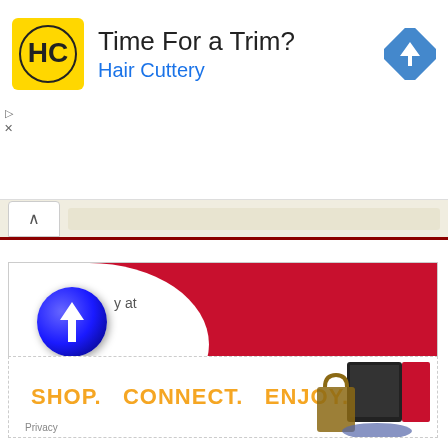[Figure (screenshot): Hair Cuttery advertisement banner with yellow HC logo, text 'Time For a Trim?' and 'Hair Cuttery' in blue, with a blue navigation arrow icon]
[Figure (screenshot): Browser navigation bar with up-chevron button and tan/beige URL bar area with dark red bottom border]
[Figure (screenshot): Amazon advertisement banner with red background, white curved section, Amazon logo with circular blue arrow icon, text 'buy at amazon.com']
[Figure (screenshot): Advertisement banner with text 'SHOP. CONNECT. ENJOY.' in orange on white background with product images on right]
Privacy